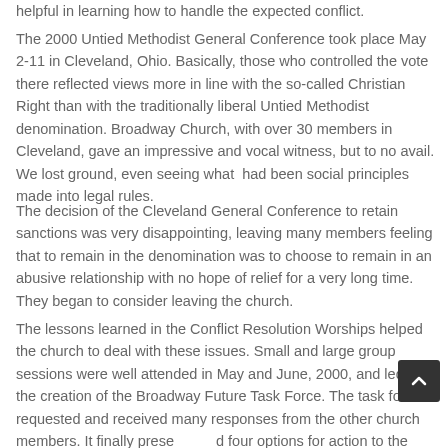helpful in learning how to handle the expected conflict.
The 2000 Untied Methodist General Conference took place May 2-11 in Cleveland, Ohio. Basically, those who controlled the vote there reflected views more in line with the so-called Christian Right than with the traditionally liberal Untied Methodist denomination. Broadway Church, with over 30 members in Cleveland, gave an impressive and vocal witness, but to no avail. We lost ground, even seeing what had been social principles made into legal rules.
The decision of the Cleveland General Conference to retain sanctions was very disappointing, leaving many members feeling that to remain in the denomination was to choose to remain in an abusive relationship with no hope of relief for a very long time. They began to consider leaving the church.
The lessons learned in the Conflict Resolution Worships helped the church to deal with these issues. Small and large group sessions were well attended in May and June, 2000, and led to the creation of the Broadway Future Task Force. The task force requested and received many responses from the other church members. It finally presented four options for action to the Church Council on December 12, 2000. (The options were held over for action at the Charge Conference in January 2001.)